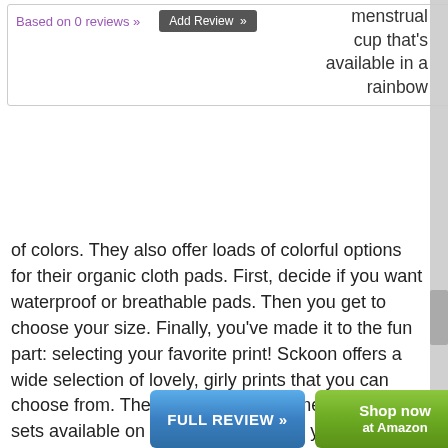Based on 0 reviews »
Add Review »
menstrual cup that's available in a rainbow of colors. They also offer loads of colorful options for their organic cloth pads. First, decide if you want waterproof or breathable pads. Then you get to choose your size. Finally, you've made it to the fun part: selecting your favorite print! Sckoon offers a wide selection of lovely, girly prints that you can choose from. There's also an assortment of value sets available on their website where you can get a discount off the individual prices of the pads.
[Figure (screenshot): Blue button labeled FULL REVIEW »]
[Figure (screenshot): Green button labeled Shop now at Amazon]